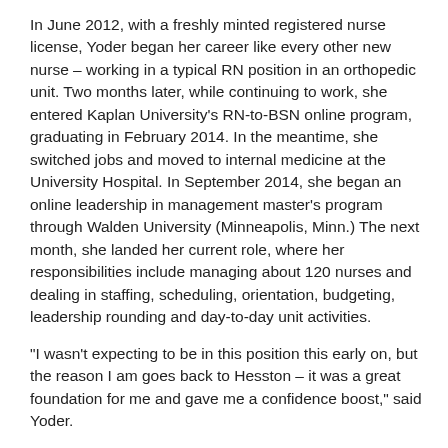In June 2012, with a freshly minted registered nurse license, Yoder began her career like every other new nurse – working in a typical RN position in an orthopedic unit. Two months later, while continuing to work, she entered Kaplan University's RN-to-BSN online program, graduating in February 2014. In the meantime, she switched jobs and moved to internal medicine at the University Hospital. In September 2014, she began an online leadership in management master's program through Walden University (Minneapolis, Minn.) The next month, she landed her current role, where her responsibilities include managing about 120 nurses and dealing in staffing, scheduling, orientation, budgeting, leadership rounding and day-to-day unit activities.
“I wasn't expecting to be in this position this early on, but the reason I am goes back to Hesston – it was a great foundation for me and gave me a confidence boost,” said Yoder.
Yoder is proud of the work she has done to reach such a prominent role at such a young age, but says none of it has been without its challenges.
Her first semester at Hesston was a struggle as she tried to adjust to the demanding course work and standards.